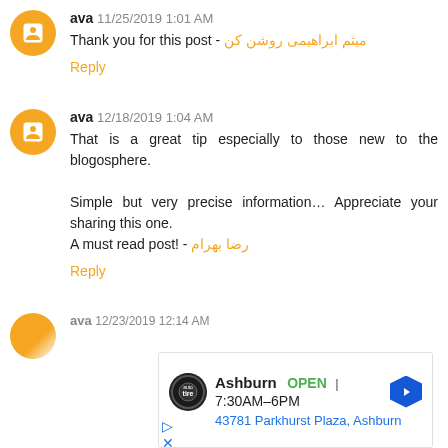ava 11/25/2019 1:01 AM
Thank you for this post - میثم ابراهیمی روشن کن
Reply
ava 12/18/2019 1:04 AM
That is a great tip especially to those new to the blogosphere.

Simple but very precise information... Appreciate your sharing this one.
A must read post! - رضا بهرام
Reply
ava 12/23/2019 12:14 AM
[Figure (screenshot): Advertisement overlay showing Tire Auto business: Ashburn OPEN 7:30AM-6PM, 43781 Parkhurst Plaza, Ashburn with navigation arrow icon]